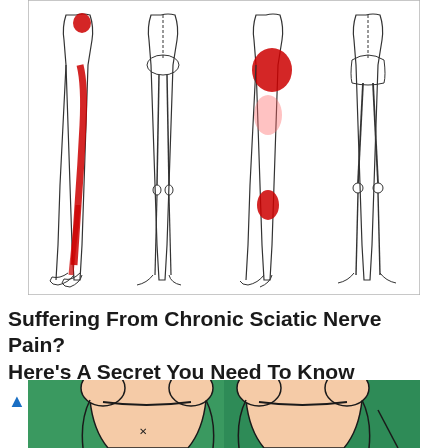[Figure (illustration): Medical illustration of human lower body (legs and lower torso) from multiple angles showing red highlighted areas indicating sciatic nerve pain locations along the back of the leg, buttock, and calf regions. Drawn in outline style on white background.]
Suffering From Chronic Sciatic Nerve Pain? Here's A Secret You Need To Know
🔥 75,149
[Figure (illustration): Medical illustration of a torso from the front showing two views side by side against a green background, depicting a body before and after, with a small x mark on one of the images, related to a medical or cosmetic procedure.]